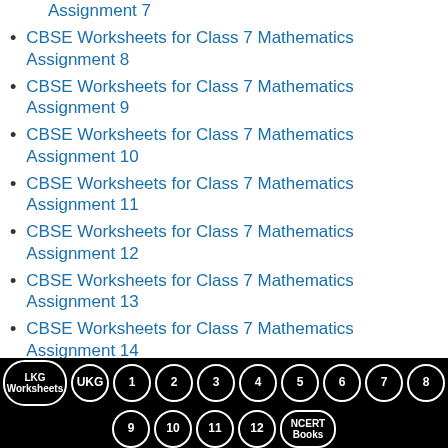CBSE Worksheets for Class 7 Mathematics Assignment 7
CBSE Worksheets for Class 7 Mathematics Assignment 8
CBSE Worksheets for Class 7 Mathematics Assignment 9
CBSE Worksheets for Class 7 Mathematics Assignment 10
CBSE Worksheets for Class 7 Mathematics Assignment 11
CBSE Worksheets for Class 7 Mathematics Assignment 12
CBSE Worksheets for Class 7 Mathematics Assignment 13
CBSE Worksheets for Class 7 Mathematics Assignment 14
LKG Worksheets UKG 1 2 3 4 5 6 7 8 9 10 11 12 NCERT Books